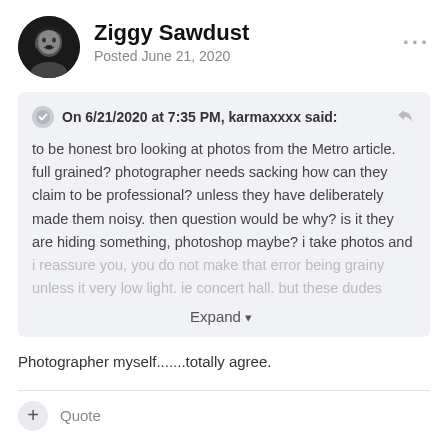Ziggy Sawdust
Posted June 21, 2020
On 6/21/2020 at 7:35 PM, karmaxxxx said:
to be honest bro looking at photos from the Metro article. full grained? photographer needs sacking how can they claim to be professional? unless they have deliberately made them noisy. then question would be why? is it they are hiding something, photoshop maybe? i take photos and i reassure you,  you do not make that error being grainy unless it very low light. ie concert hall. but these dudes
Photographer myself.......totally agree.
Quote